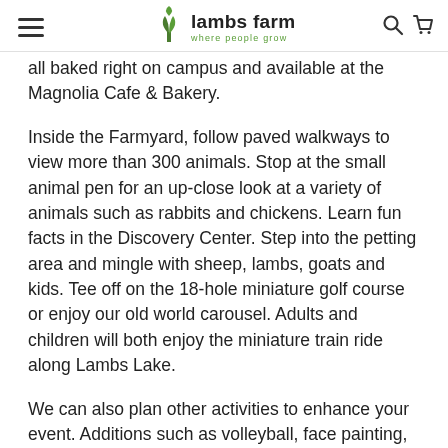lambs farm — where people grow
all baked right on campus and available at the Magnolia Cafe & Bakery.
Inside the Farmyard, follow paved walkways to view more than 300 animals. Stop at the small animal pen for an up-close look at a variety of animals such as rabbits and chickens. Learn fun facts in the Discovery Center. Step into the petting area and mingle with sheep, lambs, goats and kids. Tee off on the 18-hole miniature golf course or enjoy our old world carousel. Adults and children will both enjoy the miniature train ride along Lambs Lake.
We can also plan other activities to enhance your event. Additions such as volleyball, face painting, sand art, inflatables, carnival games and more will make your event one to remember.